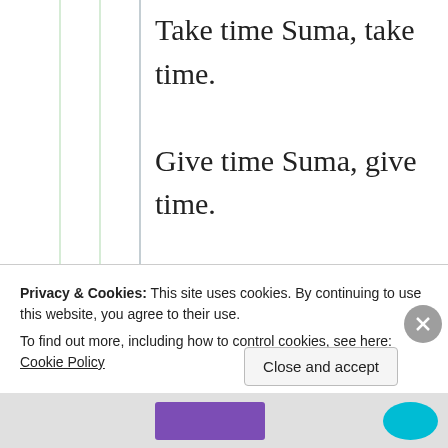Take time Suma, take time.
Give time Suma, give time.
Love Self Suma, love Self.
Initially you have to love yourself, your innermost Self.
Talk to Self. Then you
Privacy & Cookies: This site uses cookies. By continuing to use this website, you agree to their use.
To find out more, including how to control cookies, see here: Cookie Policy
Close and accept